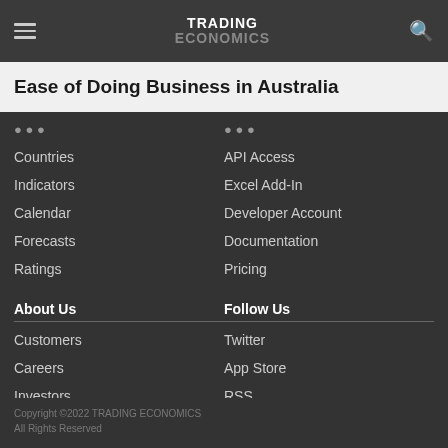TRADING ECONOMICS
Ease of Doing Business in Australia
Countries
Indicators
Calendar
Forecasts
Ratings
API Access
Excel Add-In
Developer Account
Documentation
Pricing
About Us
Customers
Careers
Investors
Advertisers
About us
Follow Us
Twitter
App Store
RSS
GitHub
Privacy
Copyright ©2022 TRADING ECONOMICS
All Rights Reserved